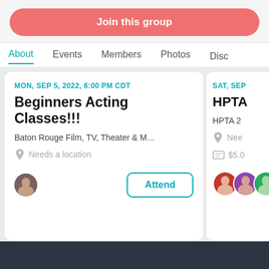Join this group
About  Events  Members  Photos  Disc
MON, SEP 5, 2022, 6:00 PM CDT
Beginners Acting Classes!!!
Baton Rouge Film, TV, Theater & M...
Needs a location
Attend
SAT, SEP
HPTA
HPTA 2
Nee
$5.0